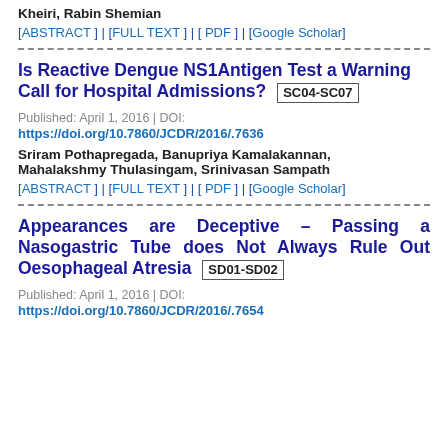Kheiri, Rabin Shemian
[ABSTRACT] | [FULL TEXT] | [ PDF ] | [Google Scholar]
Is Reactive Dengue NS1Antigen Test a Warning Call for Hospital Admissions? SC04-SC07
Published: April 1, 2016 | DOI: https://doi.org/10.7860/JCDR/2016/.7636
Sriram Pothapregada, Banupriya Kamalakannan, Mahalakshmy Thulasingam, Srinivasan Sampath
[ABSTRACT] | [FULL TEXT] | [ PDF ] | [Google Scholar]
Appearances are Deceptive – Passing a Nasogastric Tube does Not Always Rule Out Oesophageal Atresia SD01-SD02
Published: April 1, 2016 | DOI: https://doi.org/10.7860/JCDR/2016/.7654